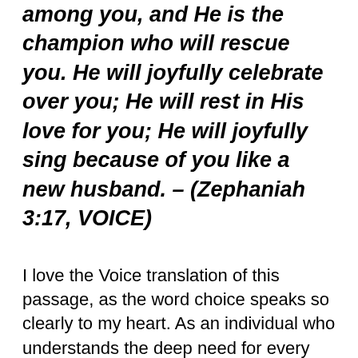among you, and He is the champion who will rescue you. He will joyfully celebrate over you; He will rest in His love for you; He will joyfully sing because of you like a new husband. – (Zephaniah 3:17, VOICE)
I love the Voice translation of this passage, as the word choice speaks so clearly to my heart. As an individual who understands the deep need for every person to have someone willing to fight for them, and the joy of a new husband, God's promises are an encouragement that stand the test of time. His presence is our comfort, and His love brings peace and joy and calms our fears. Our